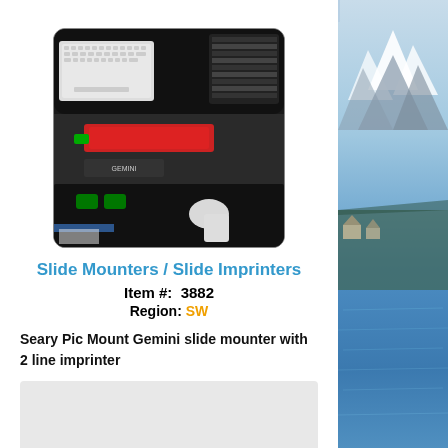[Figure (photo): Seary Pic Mount Gemini slide mounter with 2 line imprinter machine photo]
Slide Mounters / Slide Imprinters
Item #:  3882
Region: SW
Seary Pic Mount Gemini slide mounter with 2 line imprinter
[Figure (other): Gray empty content box]